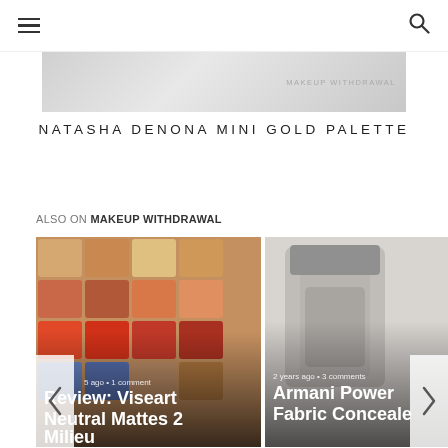☰  [navigation]  🔍
[Figure (photo): Banner image with text 'MAKEUP WITHDRAWAL' in upper right]
NATASHA DENONA MINI GOLD PALETTE
ALSO ON MAKEUP WITHDRAWAL
[Figure (photo): Card 1: Review: Viseart Neutral Mattes 2 Milieu — photo of colorful matte eyeshadow palette, 5 ago • 1 comment]
[Figure (photo): Card 2: Armani Power Fabric Concealer — photo of concealer product, 2 years ago • 3 comments]